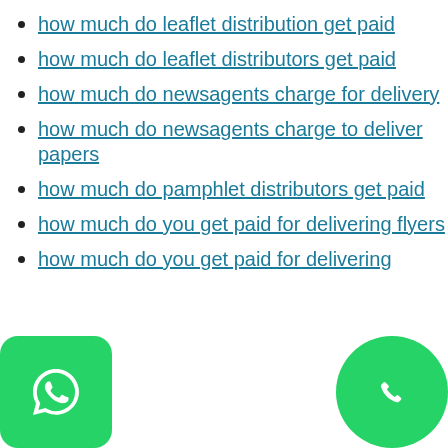how much do leaflet distribution get paid
how much do leaflet distributors get paid
how much do newsagents charge for delivery
how much do newsagents charge to deliver papers
how much do pamphlet distributors get paid
how much do you get paid for delivering flyers
how much do you get paid for delivering